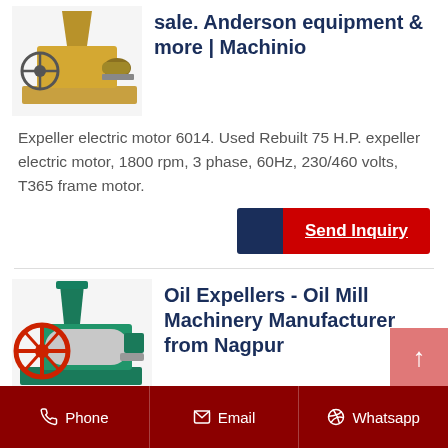sale. Anderson equipment & more | Machinio
[Figure (photo): Yellow/tan oil expeller press machine]
Expeller electric motor 6014. Used Rebuilt 75 H.P. expeller electric motor, 1800 rpm, 3 phase, 60Hz, 230/460 volts, T365 frame motor.
[Figure (other): Send Inquiry button with blue and red sections]
[Figure (photo): Green oil expeller / oil mill machinery]
Oil Expellers - Oil Mill Machinery Manufacturer from Nagpur
Phone  Email  Whatsapp